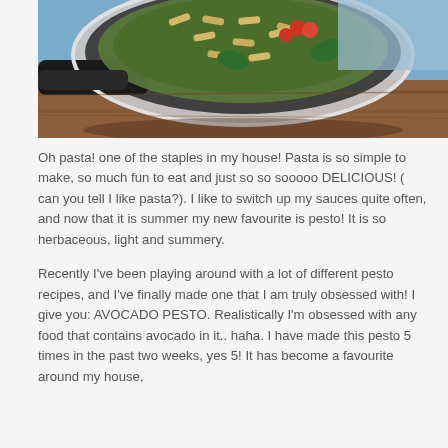[Figure (photo): A pan of pasta with pesto sauce, cherry tomatoes, and basil leaves, photographed from above on a wooden surface]
Oh pasta! one of the staples in my house! Pasta is so simple to make, so much fun to eat and just so so sooooo DELICIOUS! ( can you tell I like pasta?). I like to switch up my sauces quite often, and now that it is summer my new favourite is pesto! It is so herbaceous, light and summery.
Recently I've been playing around with a lot of different pesto recipes, and I've finally made one that I am truly obsessed with! I give you: AVOCADO PESTO. Realistically I'm obsessed with any food that contains avocado in it.. haha. I have made this pesto 5 times in the past two weeks, yes 5! It has become a favourite around my house,